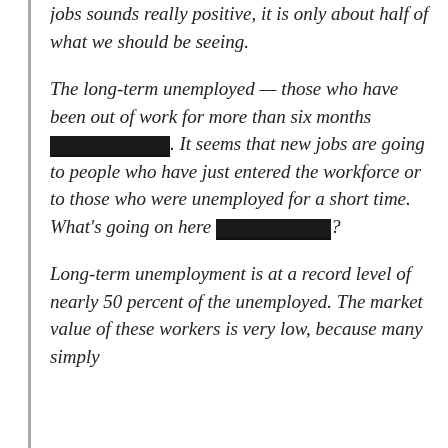jobs sounds really positive, it is only about half of what we should be seeing.
The long-term unemployed — those who have been out of work for more than six months [REDACTED]. It seems that new jobs are going to people who have just entered the workforce or to those who were unemployed for a short time. What's going on here [REDACTED]?
Long-term unemployment is at a record level of nearly 50 percent of the unemployed. The market value of these workers is very low, because many simply